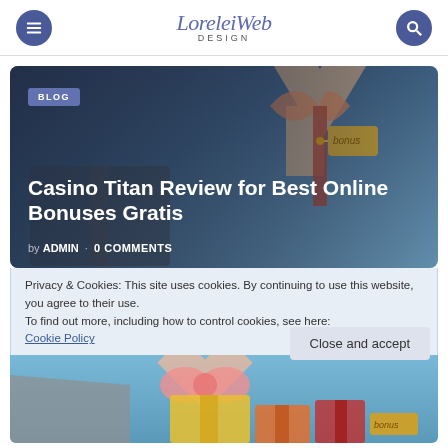LoreleiWeb DESIGN
[Figure (illustration): Hero card with gift boxes illustration showing large gift boxes with ribbons on a blue-gray gradient background, with BLOG tag, article title, and author/comment meta]
Casino Titan Review for Best Online Bonuses Gratis
by ADMIN · 0 COMMENTS
Privacy & Cookies: This site uses cookies. By continuing to use this website, you agree to their use.
To find out more, including how to control cookies, see here: Cookie Policy
Close and accept
[Figure (illustration): Bottom strip of gift boxes illustration continuing from hero image]